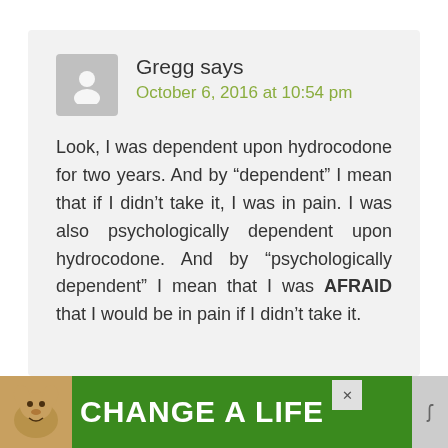[Figure (screenshot): User avatar placeholder icon — grey rounded square with white silhouette of a person]
Gregg says
October 6, 2016 at 10:54 pm
Look, I was dependent upon hydrocodone for two years. And by “dependent” I mean that if I didn’t take it, I was in pain. I was also psychologically dependent upon hydrocodone. And by “psychologically dependent” I mean that I was AFRAID that I would be in pain if I didn’t take it.
[Figure (photo): Advertisement banner at the bottom: green background with a dog photo on the left and bold white text reading 'CHANGE A LIFE' with a heart icon, plus a close button.]